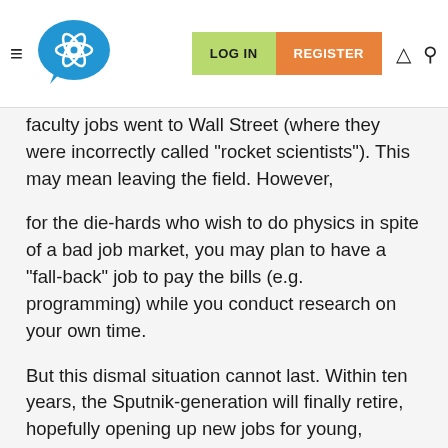LOG IN | REGISTER
faculty jobs went to Wall Street (where they were incorrectly called "rocket scientists"). This may mean leaving the field. However,
for the die-hards who wish to do physics in spite of a bad job market, you may plan to have a "fall-back" job to pay the bills (e.g. programming) while you conduct research on your own time.
But this dismal situation cannot last. Within ten years, the Sputnik-generation will finally retire, hopefully opening up new jobs for young, talented physicists. The funding for physics may never rival that of the Cold War, but physics will remain an indispensable part